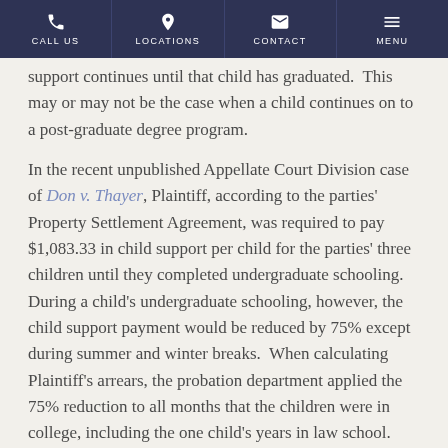CALL US | LOCATIONS | CONTACT | MENU
support continues until that child has graduated.  This may or may not be the case when a child continues on to a post-graduate degree program.
In the recent unpublished Appellate Court Division case of Don v. Thayer, Plaintiff, according to the parties' Property Settlement Agreement, was required to pay $1,083.33 in child support per child for the parties' three children until they completed undergraduate schooling.  During a child's undergraduate schooling, however, the child support payment would be reduced by 75% except during summer and winter breaks.  When calculating Plaintiff's arrears, the probation department applied the 75% reduction to all months that the children were in college, including the one child's years in law school.